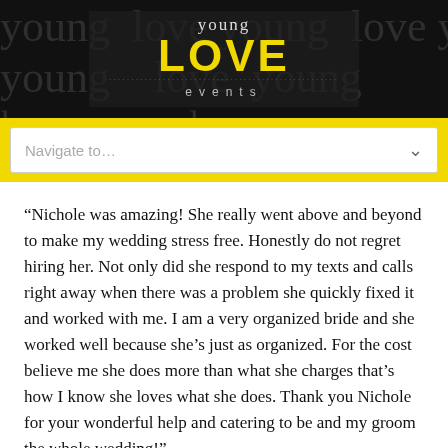[Figure (logo): Young Love Events logo on dark black background with cursive watermark text. Logo shows 'young' in script, 'LOVE' in large yellow bold letters, dotted line, and 'events' in spaced gray letters.]
[Figure (screenshot): Navigation bar with yellow background containing a white dropdown select box with placeholder text 'Navigate to...' and a chevron arrow on the right.]
“Nichole was amazing! She really went above and beyond to make my wedding stress free. Honestly do not regret hiring her. Not only did she respond to my texts and calls right away when there was a problem she quickly fixed it and worked with me. I am a very organized bride and she worked well because she’s just as organized. For the cost believe me she does more than what she charges that’s how I know she loves what she does. Thank you Nichole for your wonderful help and catering to be and my groom the whole wedding!”